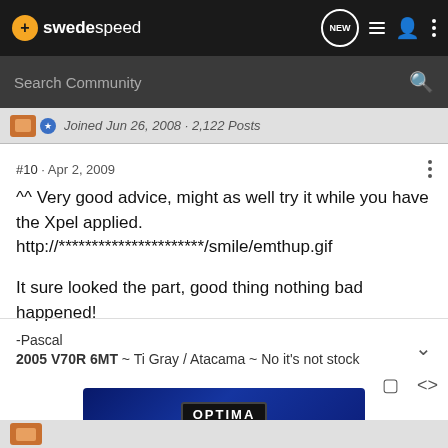swedespeed — navigation bar with search
Joined Jun 26, 2008 · 2,122 Posts
#10  ·  Apr 2, 2009
^^ Very good advice, might as well try it while you have the Xpel applied. http://**********************/smile/emthup.gif

It sure looked the part, good thing nothing bad happened!
-Pascal
2005 V70R 6MT ~ Ti Gray / Atacama ~ No it's not stock
[Figure (screenshot): Optima Batteries advertisement banner with blue background and battery imagery]